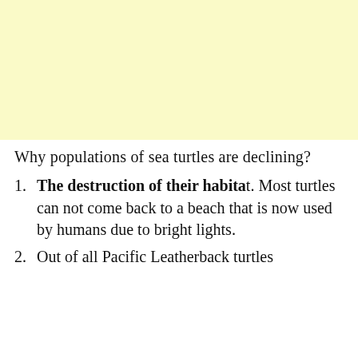[Figure (other): Light yellow rectangular banner/header area at top of page]
Why populations of sea turtles are declining?
The destruction of their habitat. Most turtles can not come back to a beach that is now used by humans due to bright lights.
Out of all Pacific Leatherback turtles [text cut off]